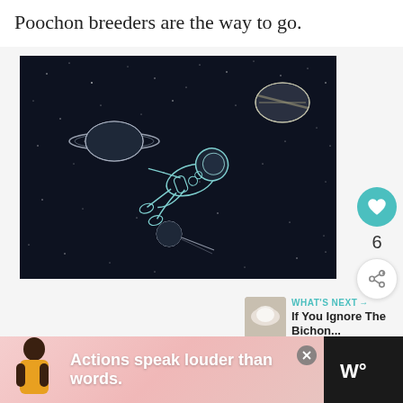Poochon breeders are the way to go.
[Figure (illustration): Illustration of an astronaut floating in outer space with planets (Saturn with rings, a gas giant, and a smaller planet) visible against a dark starry background. The astronaut is drawn in a teal/white line art style.]
[Figure (infographic): Social media UI overlay: heart/like button (teal circle), like count '6', and share button (circle with share icon)]
WHAT'S NEXT → If You Ignore The Bichon...
[Figure (infographic): Advertisement banner at bottom: dark background on right, pink/coral background on left with a person sitting, text 'Actions speak louder than words.' with a close button and a logo on the right side.]